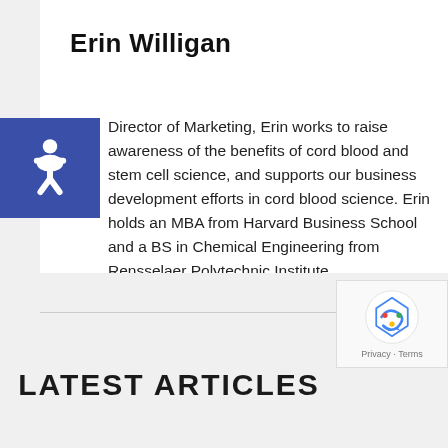Erin Willigan
Director of Marketing, Erin works to raise awareness of the benefits of cord blood and stem cell science, and supports our business development efforts in cord blood science. Erin holds an MBA from Harvard Business School and a BS in Chemical Engineering from Rensselaer Polytechnic Institute.
READ MORE
LATEST ARTICLES